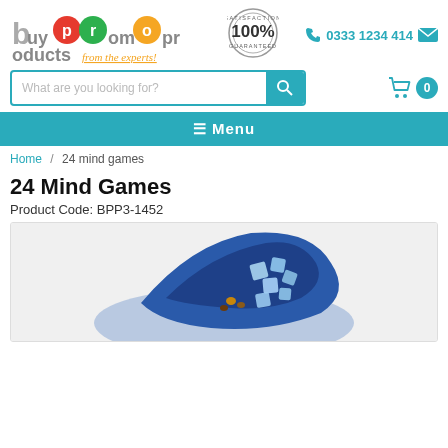[Figure (logo): buypromoproducts logo with colorful circles for letters b, p, p, o and tagline 'from the experts!']
[Figure (illustration): Satisfaction 100% Guaranteed circular stamp badge]
0333 1234 414
What are you looking for?
≡ Menu
Home / 24 mind games
24 Mind Games
Product Code: BPP3-1452
[Figure (photo): Product photo of 24 Mind Games showing a blue box/board game with small cube pieces]